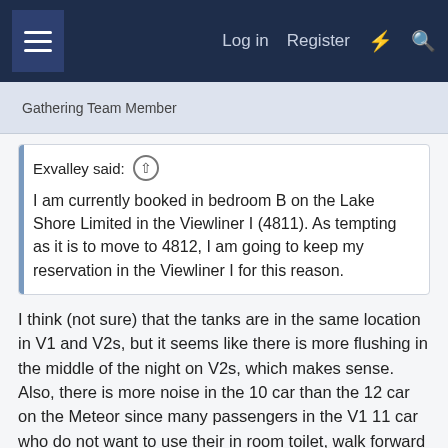Log in  Register
Gathering Team Member
Exvalley said: ↑

I am currently booked in bedroom B on the Lake Shore Limited in the Viewliner I (4811). As tempting as it is to move to 4812, I am going to keep my reservation in the Viewliner I for this reason.
I think (not sure) that the tanks are in the same location in V1 and V2s, but it seems like there is more flushing in the middle of the night on V2s, which makes sense. Also, there is more noise in the 10 car than the 12 car on the Meteor since many passengers in the V1 11 car who do not want to use their in room toilet, walk forward to the 10 car to use the public restrooms. I am in the 11 car on the Star now. The sleeper is not very crowded and it is the last car in the consist. I have not seen any passengers walk back to the rear of the 11 car to use the restrooms. The noise has not been that bad. The same may be true on the